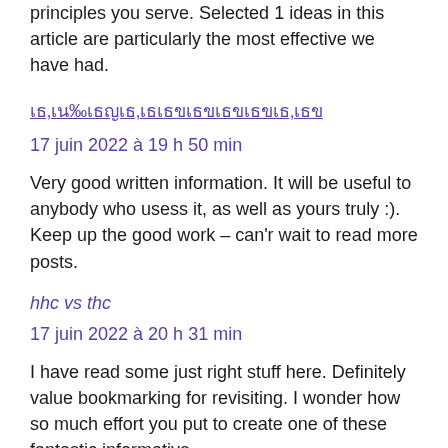principles you serve. Selected 1 ideas in this article are particularly the most effective we have had.
เธ‚เน‰เธญเธกเธนเธฅ
17 juin 2022 à 19 h 50 min
Very good written information. It will be useful to anybody who usess it, as well as yours truly :). Keep up the good work – can'r wait to read more posts.
hhc vs thc
17 juin 2022 à 20 h 31 min
I have read some just right stuff here. Definitely value bookmarking for revisiting. I wonder how so much effort you put to create one of these fantastic informative